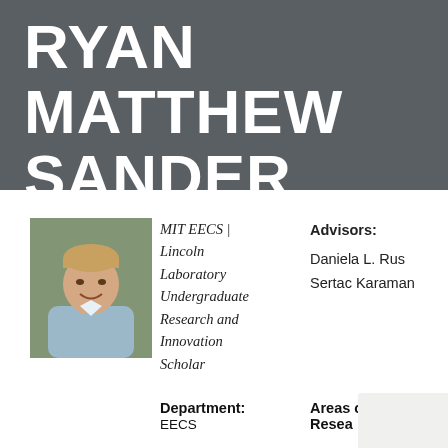RYAN MATTHEW SANDER
[Figure (photo): Headshot photo of Ryan Matthew Sander, a young man smiling, wearing a light blue shirt, with a blurred outdoor background.]
MIT EECS | Lincoln Laboratory Undergraduate Research and Innovation Scholar
Advisors: Daniela L. Rus Sertac Karaman
Department:
Areas of Research